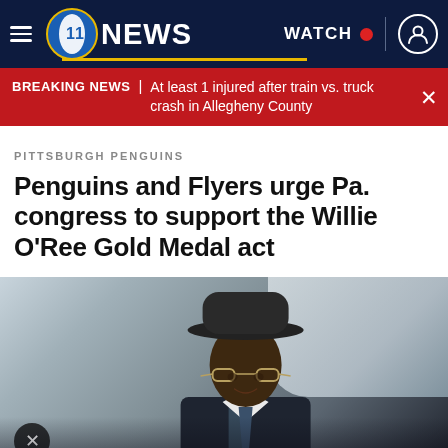WPXI NEWS — WATCH
BREAKING NEWS | At least 1 injured after train vs. truck crash in Allegheny County
PITTSBURGH PENGUINS
Penguins and Flyers urge Pa. congress to support the Willie O'Ree Gold Medal act
[Figure (photo): An elderly Black man wearing a dark fedora hat and glasses, in a suit with a tie, photographed in an indoor setting with a blurred background.]